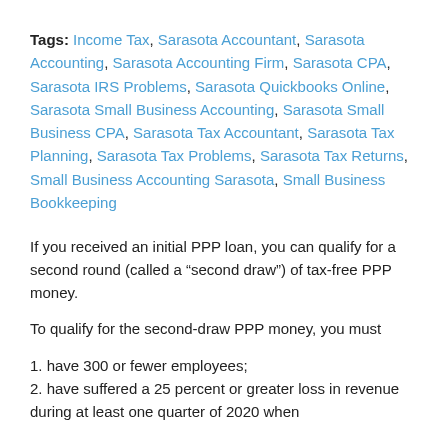Tags: Income Tax, Sarasota Accountant, Sarasota Accounting, Sarasota Accounting Firm, Sarasota CPA, Sarasota IRS Problems, Sarasota Quickbooks Online, Sarasota Small Business Accounting, Sarasota Small Business CPA, Sarasota Tax Accountant, Sarasota Tax Planning, Sarasota Tax Problems, Sarasota Tax Returns, Small Business Accounting Sarasota, Small Business Bookkeeping
If you received an initial PPP loan, you can qualify for a second round (called a “second draw”) of tax-free PPP money.
To qualify for the second-draw PPP money, you must
1. have 300 or fewer employees;
2. have suffered a 25 percent or greater loss in revenue during at least one quarter of 2020 when